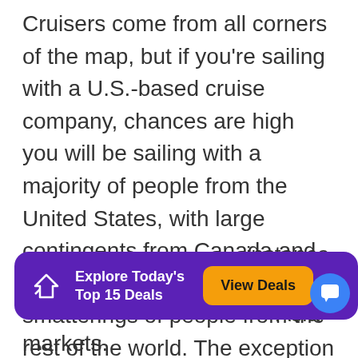Cruisers come from all corners of the map, but if you're sailing with a U.S.-based cruise company, chances are high you will be sailing with a majority of people from the United States, with large contingents from Canada and the U.K., as well as smatterings of people from the rest of the world. The exception to this are ships that have been based in other parts of the world by these cruise lines, specifically to target other audiences. Carnival Cruise Line and Royal Caribbean, for instance, have deployed ships to di... Asia markets.
[Figure (infographic): Purple banner ad overlay with tag icon, text 'Explore Today's Top 15 Deals', orange 'View Deals' button, and an X close button]